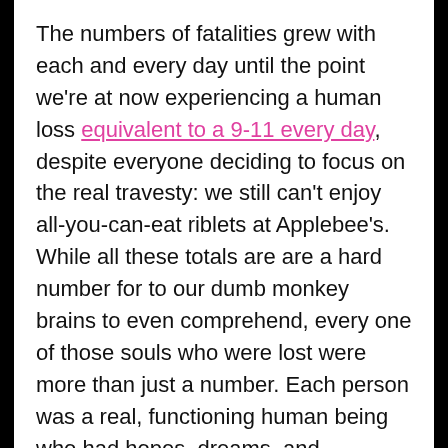The numbers of fatalities grew with each and every day until the point we're at now experiencing a human loss equivalent to a 9-11 every day, despite everyone deciding to focus on the real travesty: we still can't enjoy all-you-can-eat riblets at Applebee's. While all these totals are are a hard number for to our dumb monkey brains to even comprehend, every one of those souls who were lost were more than just a number. Each person was a real, functioning human being who had hopes, dreams, and aspirations but are all now piled inside a biohazard trailer. Every one of these human beings were chucked into the meat grinder while our half witted clown show of a government downplayed deaths all while selling snake oil